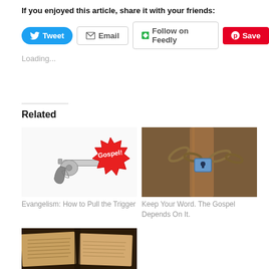If you enjoyed this article, share it with your friends:
[Figure (screenshot): Social sharing buttons: Tweet (blue), Email (gray border), Follow on Feedly (green icon, gray border), Save (Pinterest red)]
Loading...
Related
[Figure (illustration): Illustration of a revolver gun pointing at a red starburst sign that says 'Gospel!']
Evangelism: How to Pull the Trigger
[Figure (photo): Photo of a padlock and chain on a rusty metal fence post]
Keep Your Word. The Gospel Depends On It.
[Figure (photo): Photo of an open old book with handwritten or printed text, close-up]